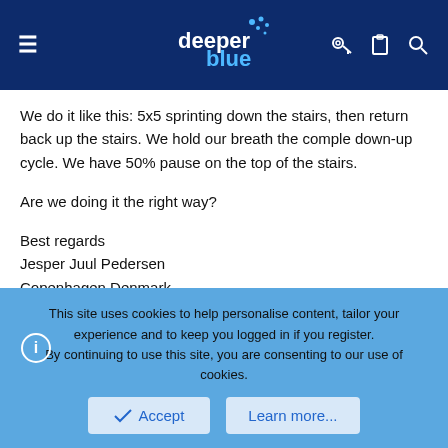deeper blue [logo]
We do it like this: 5x5 sprinting down the stairs, then return back up the stairs. We hold our breath the comple down-up cycle. We have 50% pause on the top of the stairs.
Are we doing it the right way?
Best regards
Jesper Juul Pedersen
Copenhagen Denmark
jero
New Member
This site uses cookies to help personalise content, tailor your experience and to keep you logged in if you register.
By continuing to use this site, you are consenting to our use of cookies.